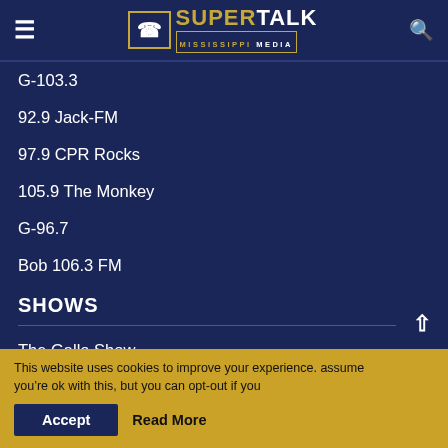SuperTalk Mississippi Media
G-103.3
92.9 Jack-FM
97.9 CPR Rocks
105.9 The Monkey
G-96.7
Bob 106.3 FM
SHOWS
The Gallo Show
Coast Vue with Ricky Matthews
This website uses cookies to improve your experience. assume you're ok with this, but you can opt-out if you